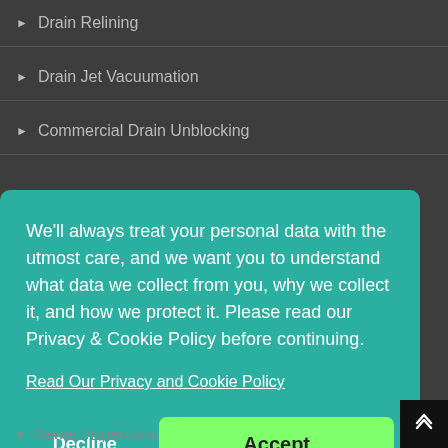▶ Drain Relining
▶ Drain Jet Vacuumation
▶ Commercial Drain Unblocking
We'll always treat your personal data with the utmost care, and we want you to understand what data we collect from you, why we collect it, and how we protect it. Please read our Privacy & Cookie Policy before continuing.
Read Our Privacy and Cookie Policy
Decline
Accept
▶ Sewer Inspections